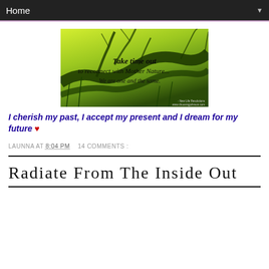Home ▼
[Figure (photo): Nature quote image with green background and branches: 'Take time out to reconnect with Mother Nature... We are one and the same.']
I cherish my past, I accept my present and I dream for my future ♥
LAUNNA AT 8:04 PM    14 COMMENTS :
Radiate From The Inside Out